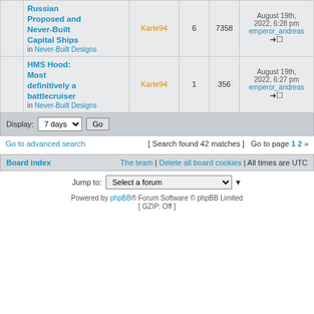|  | Topic | Author | Replies | Views | Last post |
| --- | --- | --- | --- | --- | --- |
|  | Russian Proposed and Never-Built Capital Ships
in Never-Built Designs | Karle94 | 6 | 7358 | August 19th, 2022, 6:28 pm
emperor_andreas |
|  | HMS Hood: Most definitively a battlecruiser
in Never-Built Designs | Karle94 | 1 | 356 | August 19th, 2022, 6:27 pm
emperor_andreas |
Display: 7 days  Go
Go to advanced search  [ Search found 42 matches ]  Go to page 1 2 »
Board index  The team | Delete all board cookies | All times are UTC
Jump to: Select a forum
Powered by phpBB® Forum Software © phpBB Limited [ GZIP: Off ]